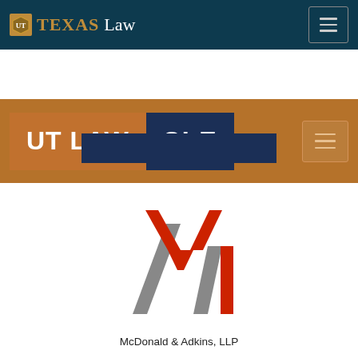[Figure (logo): Texas Law university logo navigation bar with crest, TEXAS Law text in gold/white on dark teal background, and hamburger menu button]
[Figure (logo): UT Law CLE logo bar - orange background with UT LAW in orange block and CLE in dark navy block, plus hamburger menu]
[Figure (logo): McDonald & Adkins LLP law firm logo - stylized M and A letters in red and gray geometric shapes]
McDonald & Adkins, LLP